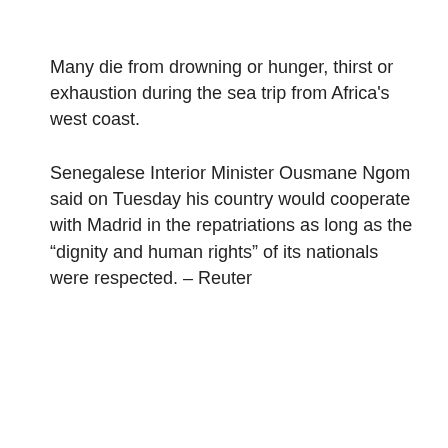Many die from drowning or hunger, thirst or exhaustion during the sea trip from Africa’s west coast.
Senegalese Interior Minister Ousmane Ngom said on Tuesday his country would cooperate with Madrid in the repatriations as long as the “dignity and human rights” of its nationals were respected. – Reuter